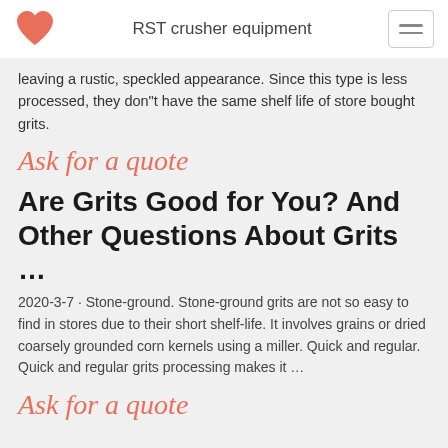RST crusher equipment
leaving a rustic, speckled appearance. Since this type is less processed, they don"t have the same shelf life of store bought grits.
Ask for a quote
Are Grits Good for You? And Other Questions About Grits …
2020-3-7 · Stone-ground. Stone-ground grits are not so easy to find in stores due to their short shelf-life. It involves grains or dried coarsely grounded corn kernels using a miller. Quick and regular. Quick and regular grits processing makes it …
Ask for a quote